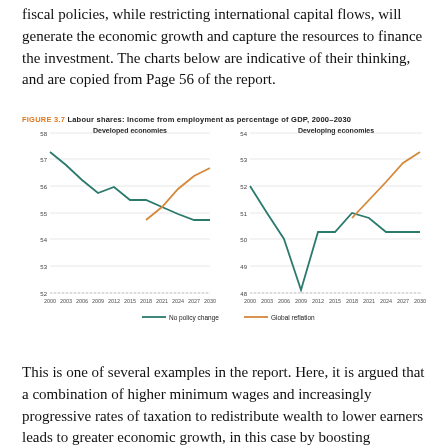fiscal policies, while restricting international capital flows, will generate the economic growth and capture the resources to finance the investment. The charts below are indicative of their thinking, and are copied from Page 56 of the report.
[Figure (line-chart): Two line charts side by side. Left: Developed economies, y-axis 52–58, showing 'No policy change' (teal, declining from ~57.5 to ~54.5) and 'Global reflation' (orange, rising from ~54.5 to ~57 by 2030). Right: Developing economies, y-axis 48–54, showing 'No policy change' (teal, dipping from ~52.5 to ~48 then recovering to ~50.5) and 'Global reflation' (orange, rising to ~53.5 by 2030). X-axis: 2000–2030.]
This is one of several examples in the report. Here, it is argued that a combination of higher minimum wages and increasingly progressive rates of taxation to redistribute wealth to lower earners leads to greater economic growth, in this case by boosting consumption of the masses at the expense of the few